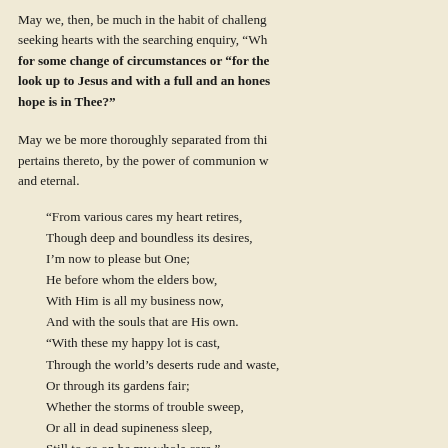May we, then, be much in the habit of challenging seeking hearts with the searching enquiry, "Wh... for some change of circumstances or "for the... look up to Jesus and with a full and an hones... hope is in Thee?"
May we be more thoroughly separated from thi... pertains thereto, by the power of communion w... and eternal.
“From various cares my heart retires,
Though deep and boundless its desires,
I’m now to please but One;
He before whom the elders bow,
With Him is all my business now,
And with the souls that are His own.
“With these my happy lot is cast,
Through the world’s deserts rude and waste,
Or through its gardens fair;
Whether the storms of trouble sweep,
Or all in dead supineness sleep,
Still to go on be my whole care.”